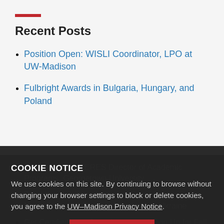Recent Posts
Position Open: WISLI Coordinator, LPO at UW-Madison
Fulbright Awards in Bulgaria, Hungary, and Poland
Position Open: CERES Director of Academic Programs, Georgetown University
Read the New Introduction to Fran Hirsch's Nuremberg and Russia's War Against Ukraine
Get Certified as a Court Interpreter! Sign Up for Fall Orientation
COOKIE NOTICE
We use cookies on this site. By continuing to browse without changing your browser settings to block or delete cookies, you agree to the UW–Madison Privacy Notice.
GOT IT!